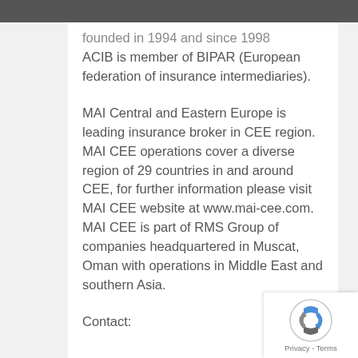founded in 1994 and since 1998 ACIB is member of BIPAR (European federation of insurance intermediaries).
MAI Central and Eastern Europe is leading insurance broker in CEE region. MAI CEE operations cover a diverse region of 29 countries in and around CEE, for further information please visit MAI CEE website at www.mai-cee.com. MAI CEE is part of RMS Group of companies headquartered in Muscat, Oman with operations in Middle East and southern Asia.
Contact: